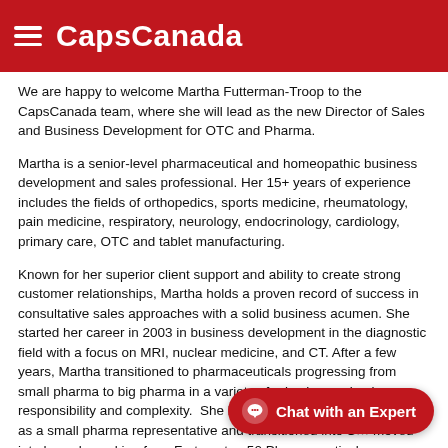CapsCanada
We are happy to welcome Martha Futterman-Troop to the CapsCanada team, where she will lead as the new Director of Sales and Business Development for OTC and Pharma.
Martha is a senior-level pharmaceutical and homeopathic business development and sales professional. Her 15+ years of experience includes the fields of orthopedics, sports medicine, rheumatology, pain medicine, respiratory, neurology, endocrinology, cardiology, primary care, OTC and tablet manufacturing.
Known for her superior client support and ability to create strong customer relationships, Martha holds a proven record of success in consultative sales approaches with a solid business acumen. She started her career in 2003 in business development in the diagnostic field with a focus on MRI, nuclear medicine, and CT. After a few years, Martha transitioned to pharmaceuticals progressing from small pharma to big pharma in a variety of roles increasing in responsibility and complexity.  She began her pharmaceutical career as a small pharma representative and transitioned into S… moved into her role working for a Fortune top 50 Pharmaceutical